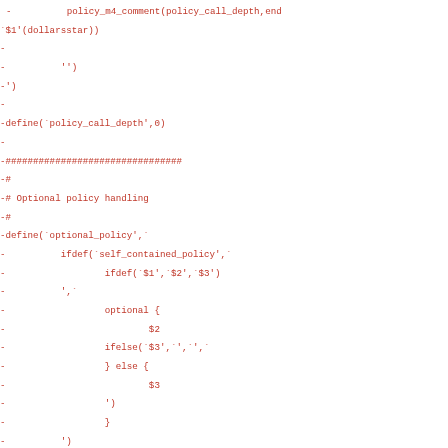- policy_m4_comment(policy_call_depth,end
`$1'(dollarsstar))
-
-          '')
-')
-
-define(`policy_call_depth',0)
-
-################################
-#
-# Optional policy handling
-#
-define(`optional_policy',`
-          ifdef(`self_contained_policy',`
-                  ifdef(`$1',`$2',`$3')
-          ',`
-                  optional {
-                          $2
-                  ifelse(`$3',`',`',`
-                  } else {
-                          $3
-                  ')
-                  }
-          ')
-')
-
-################################
-#
-# Determine if we should use the default